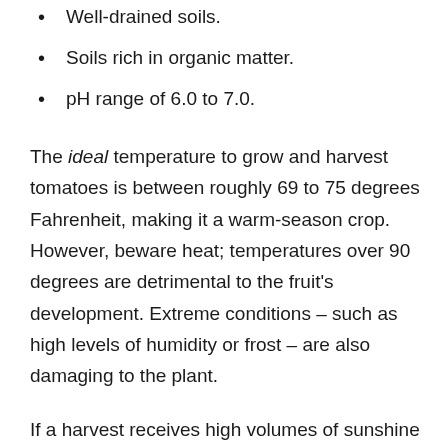Well-drained soils.
Soils rich in organic matter.
pH range of 6.0 to 7.0.
The ideal temperature to grow and harvest tomatoes is between roughly 69 to 75 degrees Fahrenheit, making it a warm-season crop. However, beware heat; temperatures over 90 degrees are detrimental to the fruit's development. Extreme conditions – such as high levels of humidity or frost – are also damaging to the plant.
If a harvest receives high volumes of sunshine when the fruit is about to set, it can create dark red